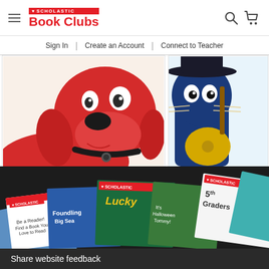[Figure (logo): Scholastic Book Clubs logo with hamburger menu icon on left]
Sign In | Create an Account | Connect to Teacher
[Figure (illustration): Clifford the Big Red Dog cartoon illustration - large red dog head with black collar]
[Figure (illustration): Pete the Cat cartoon illustration - blue cat with guitar, partially visible on right]
[Figure (photo): Scholastic Book Club flyers and booklets fanned out, including Lucky, Foundling Sea, 5th Graders, and other titles]
Share website feedback